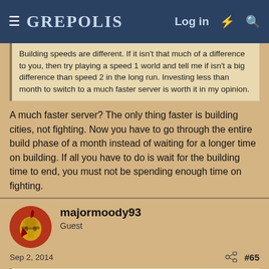GREPOLIS  Log in
Building speeds are different. If it isn't that much of a difference to you, then try playing a speed 1 world and tell me if isn't a big difference than speed 2 in the long run. Investing less than month to switch to a much faster server is worth it in my opinion.
A much faster server? The only thing faster is building cities, not fighting. Now you have to go through the entire build phase of a month instead of waiting for a longer time on building. If all you have to do is wait for the building time to end, you must not be spending enough time on fighting.
majormoody93
Guest
Sep 2, 2014
#65
Joshua Brack said:
A much faster server? The only thing faster is building cities, not fighting. Now you have to go through the entire build phase of a month instead of waiting for a longer time on building. If all you